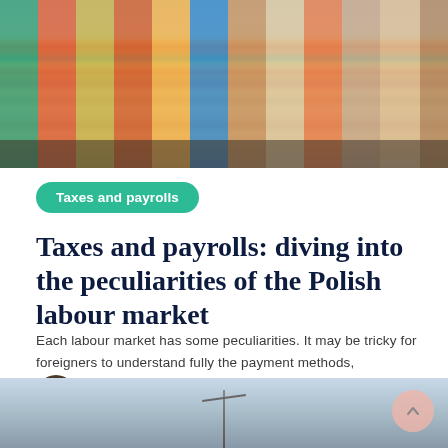[Figure (photo): Colorful European building facades (Polish town streetscape) with pedestrians on the street below, sky above.]
Taxes and payrolls
Taxes and payrolls: diving into the peculiarities of the Polish labour market
Each labour market has some peculiarities. It may be tricky for foreigners to understand fully the payment methods,
Èlia Adroher i Llorens   March 10, 2022
[Figure (photo): Partial photo of a sailing boat mast against a cloudy sky, visible at the bottom of the page.]